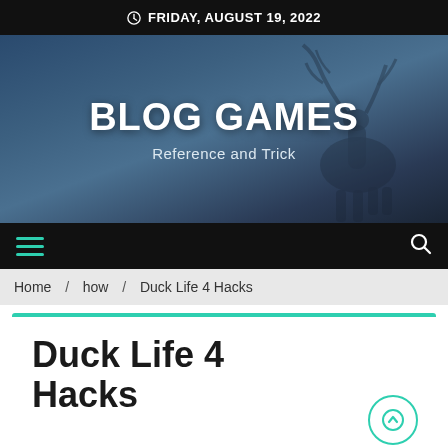FRIDAY, AUGUST 19, 2022
BLOG GAMES
Reference and Trick
[Figure (illustration): Deer silhouette in misty blue background]
Home / how / Duck Life 4 Hacks
Duck Life 4 Hacks